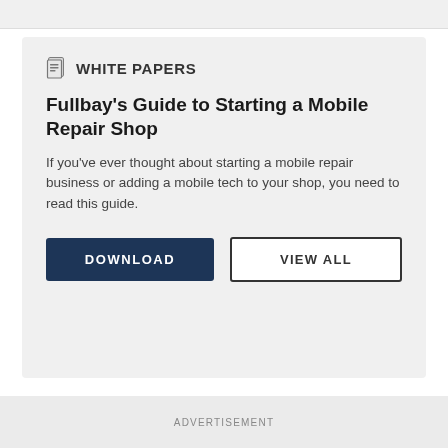WHITE PAPERS
Fullbay's Guide to Starting a Mobile Repair Shop
If you've ever thought about starting a mobile repair business or adding a mobile tech to your shop, you need to read this guide.
DOWNLOAD
VIEW ALL
ADVERTISEMENT